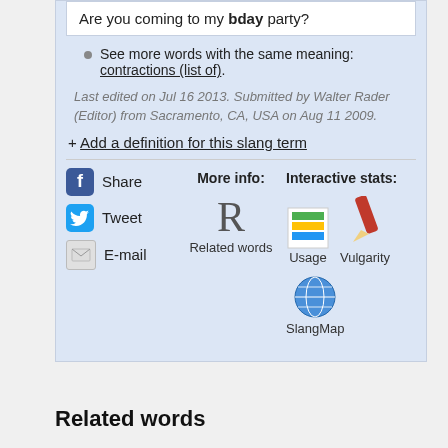Are you coming to my bday party?
See more words with the same meaning: contractions (list of).
Last edited on Jul 16 2013. Submitted by Walter Rader (Editor) from Sacramento, CA, USA on Aug 11 2009.
+ Add a definition for this slang term
Share  Tweet  E-mail  More info:  R  Related words  Interactive stats:  Usage  Vulgarity  SlangMap
Related words